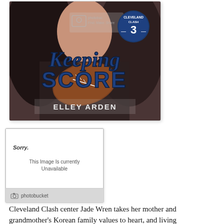[Figure (photo): Book cover for 'Keeping Score' by Elley Arden, Cleveland Clash #3. Features a woman holding a football with navy blue title text and author name.]
[Figure (photo): Photobucket broken image placeholder showing 'Sorry. This Image Is Currently Unavailable' with photobucket logo at bottom.]
Cleveland Clash center Jade Wren takes her mother and grandmother's Korean family values to heart, and living